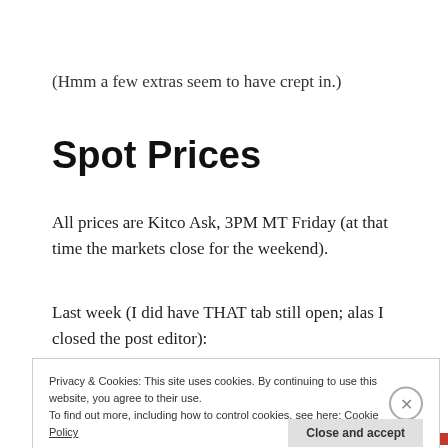(Hmm a few extras seem to have crept in.)
Spot Prices
All prices are Kitco Ask, 3PM MT Friday (at that time the markets close for the weekend).
Last week (I did have THAT tab still open; alas I closed the post editor):
Privacy & Cookies: This site uses cookies. By continuing to use this website, you agree to their use.
To find out more, including how to control cookies, see here: Cookie Policy